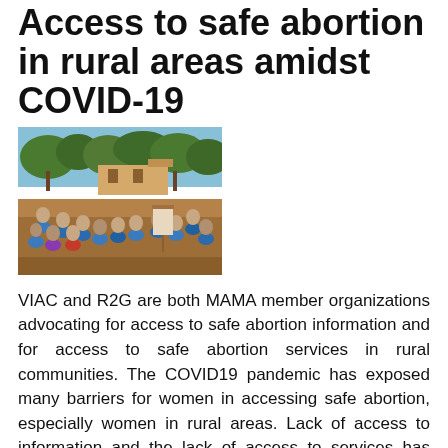Access to safe abortion in rural areas amidst COVID-19
[Figure (photo): Outdoor community meeting with people seated in blue chairs in a circle on a dirt ground, with trees and buildings in the background.]
VIAC and R2G are both MAMA member organizations advocating for access to safe abortion information and for access to safe abortion services in rural communities. The COVID19 pandemic has exposed many barriers for women in accessing safe abortion, especially women in rural areas. Lack of access to information and the lack of access to services has negatively impacted rural